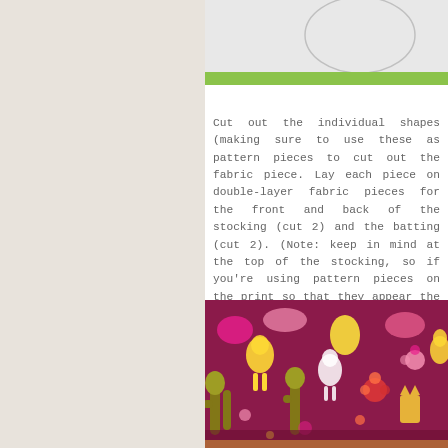[Figure (photo): Top portion of a craft/sewing project photo showing white fabric with a drawn stocking pattern outline, with a green strip at bottom edge]
Cut out the individual shapes (making sure to use these as pattern pieces to cut out the fabric piece. Lay each piece on double-layer fabric pieces for the front and back of the stocking (cut 2) and the batting (cut 2). (Note: keep in mind at the top of the stocking, so if you're using pattern pieces on the print so that they appear the print will be right-side-up.)
[Figure (photo): Photo of colorful patterned fabric with red, pink, yellow, white, and gold designs featuring animals, plants, and Christmas motifs, folded or rolled up]